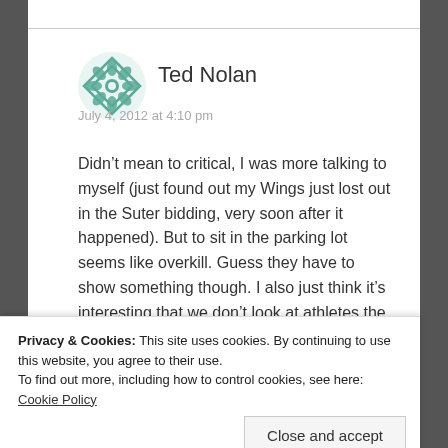Ted Nolan
July 4, 2012 at 4:10 pm
Didn’t mean to critical, I was more talking to myself (just found out my Wings just lost out in the Suter bidding, very soon after it happened). But to sit in the parking lot seems like overkill. Guess they have to show something though. I also just think it’s interesting that we don’t look at athletes the same as other millionaires, because we have that direct link to them
Privacy & Cookies: This site uses cookies. By continuing to use this website, you agree to their use.
To find out more, including how to control cookies, see here: Cookie Policy